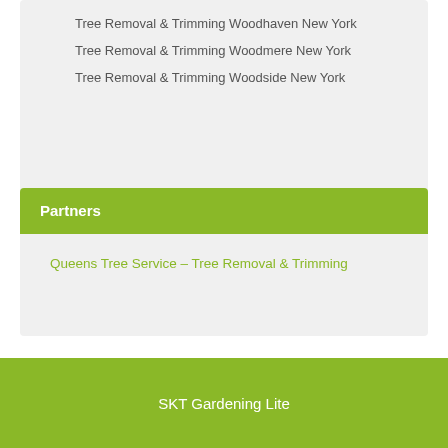Tree Removal & Trimming Woodhaven New York
Tree Removal & Trimming Woodmere New York
Tree Removal & Trimming Woodside New York
Partners
Queens Tree Service – Tree Removal & Trimming
SKT Gardening Lite